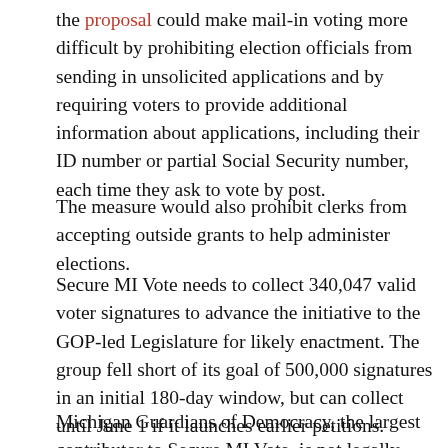the proposal could make mail-in voting more difficult by prohibiting election officials from sending in unsolicited applications and by requiring voters to provide additional information about applications, including their ID number or partial Social Security number, each time they ask to vote by post.
The measure would also prohibit clerks from accepting outside grants to help administer elections.
Secure MI Vote needs to collect 340,047 valid voter signatures to advance the initiative to the GOP-led Legislature for likely enactment. The group fell short of its goal of 500,000 signatures in an initial 180-day window, but can collect until June 1 if it launches earlier petitions.
Michigan Guardians of Democracy, the largest contributor to Secure MI Vote, is not legally required to disclose its donors and